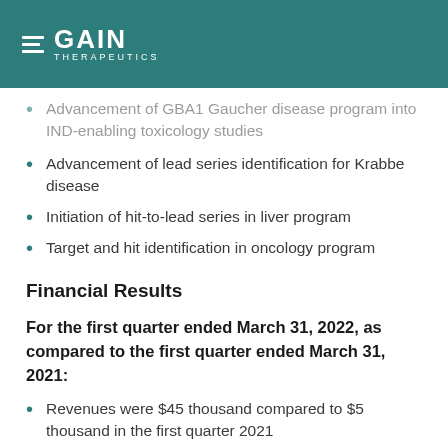GAIN THERAPEUTICS
Advancement of GBA1 Gaucher disease program into IND-enabling toxicology studies (partial, cut off at top)
Advancement of lead series identification for Krabbe disease
Initiation of hit-to-lead series in liver program
Target and hit identification in oncology program
Financial Results
For the first quarter ended March 31, 2022, as compared to the first quarter ended March 31, 2021:
Revenues were $45 thousand compared to $5 thousand in the first quarter 2021